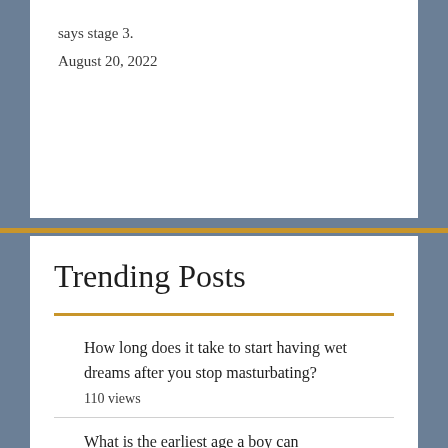says stage 3.
August 20, 2022
Trending Posts
How long does it take to start having wet dreams after you stop masturbating? 110 views
What is the earliest age a boy can